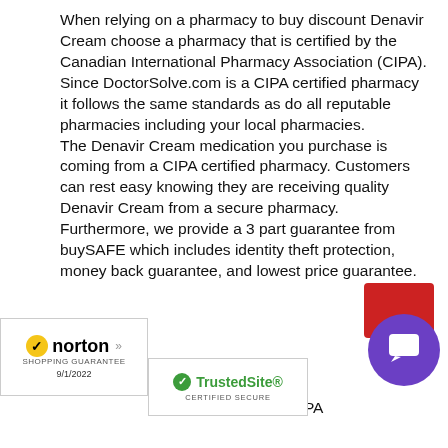When relying on a pharmacy to buy discount Denavir Cream choose a pharmacy that is certified by the Canadian International Pharmacy Association (CIPA). Since DoctorSolve.com is a CIPA certified pharmacy it follows the same standards as do all reputable pharmacies including your local pharmacies. The Denavir Cream medication you purchase is coming from a CIPA certified pharmacy. Customers can rest easy knowing they are receiving quality Denavir Cream from a secure pharmacy. Furthermore, we provide a 3 part guarantee from buySAFE which includes identity theft protection, money back guarantee, and lowest price guarantee.
[Figure (logo): Norton Shopping Guarantee badge with checkmark, dated 9/1/2022]
[Figure (logo): TrustedSite Certified Secure badge with green checkmark]
ream and all our other h that of the lowest CIPA